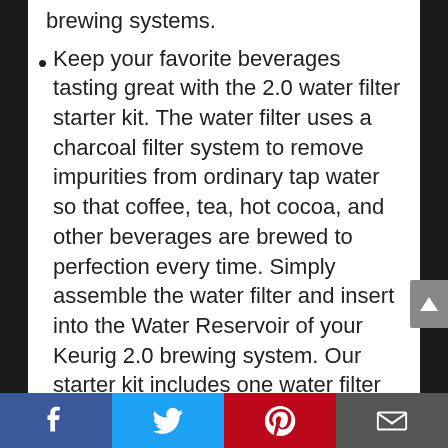brewing systems.
Keep your favorite beverages tasting great with the 2.0 water filter starter kit. The water filter uses a charcoal filter system to remove impurities from ordinary tap water so that coffee, tea, hot cocoa, and other beverages are brewed to perfection every time. Simply assemble the water filter and insert into the Water Reservoir of your Keurig 2.0 brewing system. Our starter kit includes one water filter handle and six replacement water filter cartridges.
[Facebook] [Twitter] [Pinterest] [Email]